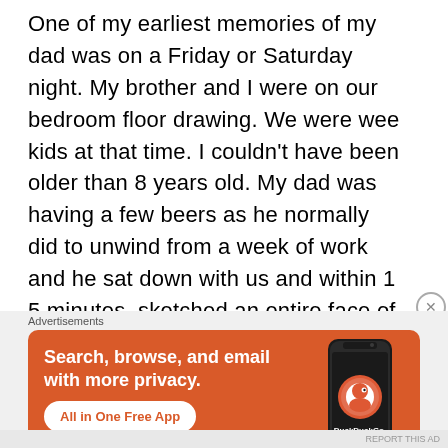One of my earliest memories of my dad was on a Friday or Saturday night. My brother and I were on our bedroom floor drawing. We were wee kids at that time. I couldn't have been older than 8 years old. My dad was having a few beers as he normally did to unwind from a week of work and he sat down with us and within 1 5 minutes, sketched an entire face of a singer he enjoyed. It was perfect. My brother and I looked at each other and couldn't believe we had wasted about an hour trying to draw X-men characters while my dad, plastered [text cut off]
[Figure (screenshot): DuckDuckGo advertisement banner with orange background. Left side shows text 'Search, browse, and email with more privacy.' with a white button 'All in One Free App'. Right side shows a stylized dark smartphone with DuckDuckGo logo and brand name.]